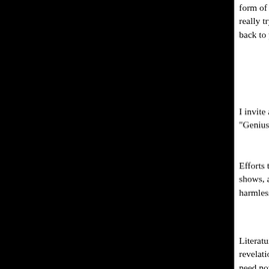form of that doctrine) and levels of value. We're only talking comic strips here, right? But what I'm really trying to say is we need to forget about historicity and circumstances and periods of time and get back to pure value.
I invite all of you to get your hands on a new work by the literary critic Harold Bloom, simply titled "Genius."
Efforts to explain literature as a function of the author's social milieu or historical context, Bloom shows, are really pathetic attempts to ward off the terrifying force of genius, to reduce it to something harmless.
Literature often produces, quite on its own, in undetermined and surprising form, works of shock, revelation or even wonder. As I stated in last week's column, Superman is just such a character. But we need now to de-historicize him. Clear away the clutter that is dimming his magic. Restore him to his original form. Let's at least go back to the Superman and the Metropolis of the early forties where the character was in full bloom. I say this out of the knowledge, as I started out saying, that I do not believe there was ever any real need to separate my literary work, The Phantom, from my comic-strip Superman...